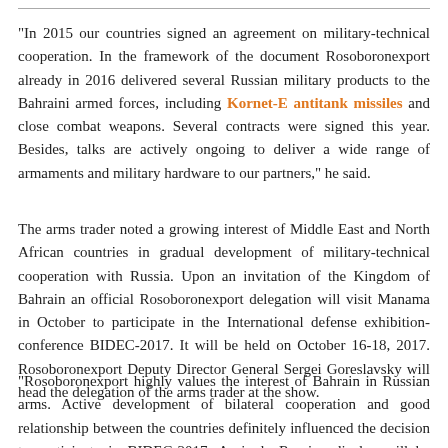"In 2015 our countries signed an agreement on military-technical cooperation. In the framework of the document Rosoboronexport already in 2016 delivered several Russian military products to the Bahraini armed forces, including Kornet-E antitank missiles and close combat weapons. Several contracts were signed this year. Besides, talks are actively ongoing to deliver a wide range of armaments and military hardware to our partners," he said.
The arms trader noted a growing interest of Middle East and North African countries in gradual development of military-technical cooperation with Russia. Upon an invitation of the Kingdom of Bahrain an official Rosoboronexport delegation will visit Manama in October to participate in the International defense exhibition-conference BIDEC-2017. It will be held on October 16-18, 2017. Rosoboronexport Deputy Director General Sergei Goreslavsky will head the delegation of the arms trader at the show.
"Rosoboronexport highly values the interest of Bahrain in Russian arms. Active development of bilateral cooperation and good relationship between the countries definitely influenced the decision to participate in BIDEC-2017. A single Russian display will be organized at the exhibition at which Rosoboronexport will